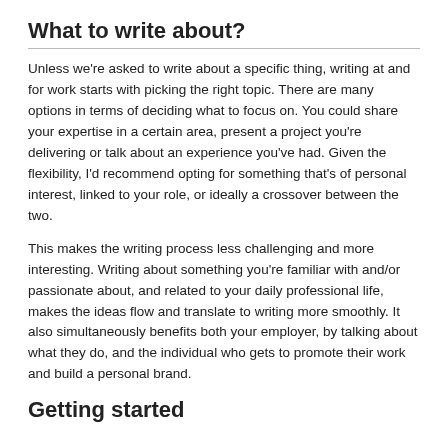What to write about?
Unless we're asked to write about a specific thing, writing at and for work starts with picking the right topic. There are many options in terms of deciding what to focus on. You could share your expertise in a certain area, present a project you're delivering or talk about an experience you've had. Given the flexibility, I'd recommend opting for something that's of personal interest, linked to your role, or ideally a crossover between the two.
This makes the writing process less challenging and more interesting. Writing about something you're familiar with and/or passionate about, and related to your daily professional life, makes the ideas flow and translate to writing more smoothly. It also simultaneously benefits both your employer, by talking about what they do, and the individual who gets to promote their work and build a personal brand.
Getting started